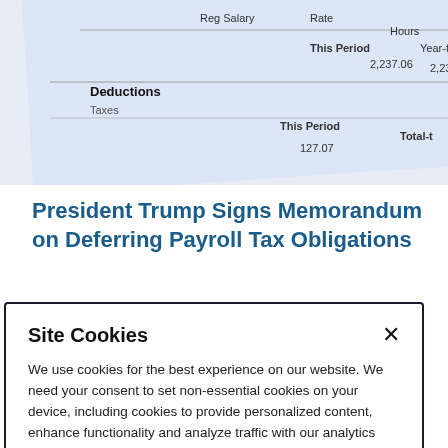[Figure (photo): Close-up photo of a payroll/paycheck stub showing columns for Reg Salary, Rate, Hours, This Period, Year-to-date; Deductions section with Taxes row showing 2,237.06 and 2,237 values; This Period showing 127.07 and Total entries]
President Trump Signs Memorandum on Deferring Payroll Tax Obligations
August 12, 2020
Site Cookies
We use cookies for the best experience on our website. We need your consent to set non-essential cookies on your device, including cookies to provide personalized content, enhance functionality and analyze traffic with our analytics partner. Please select one of the options shown. Cookie Policy